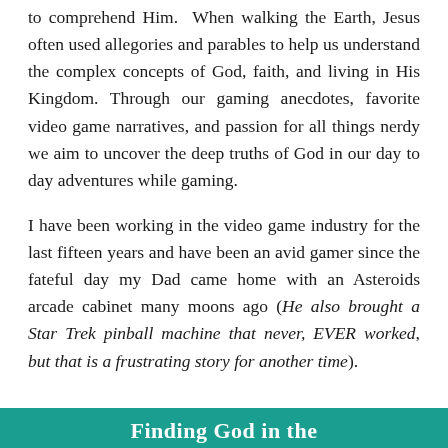to comprehend Him. When walking the Earth, Jesus often used allegories and parables to help us understand the complex concepts of God, faith, and living in His Kingdom. Through our gaming anecdotes, favorite video game narratives, and passion for all things nerdy we aim to uncover the deep truths of God in our day to day adventures while gaming.
I have been working in the video game industry for the last fifteen years and have been an avid gamer since the fateful day my Dad came home with an Asteroids arcade cabinet many moons ago (He also brought a Star Trek pinball machine that never, EVER worked, but that is a frustrating story for another time).
Finding God in the